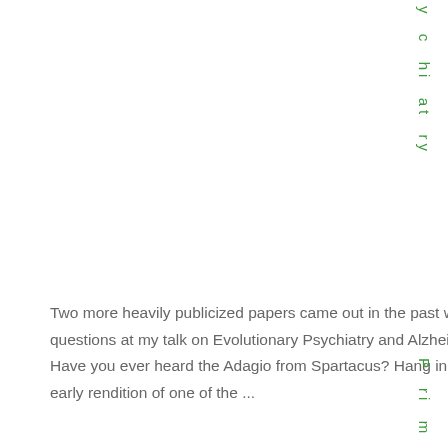y c hi at ry
Two more heavily publicized papers came out in the past week or so, just in time to be fodder for questions at my talk on Evolutionary Psychiatry and Alzheimer's Dementia in the upcoming week. Have you ever heard the Adagio from Spartacus? Hang in there for a little bit. Around 1:09 you get the early rendition of one of the ...
Almost there!
P ri m al C